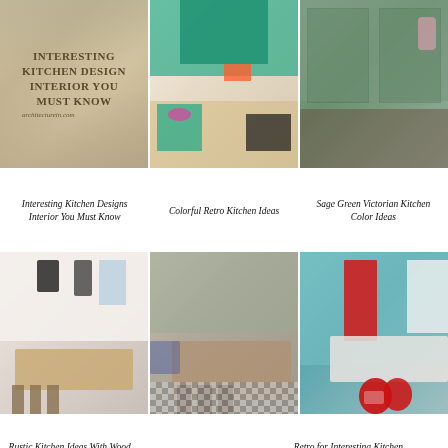[Figure (photo): Kitchen interior with text overlay reading 'Interesting Kitchen Design Interior You Must Know' and architecturein.com watermark]
[Figure (photo): Colorful retro kitchen with teal/green cabinets and open wooden shelving]
[Figure (photo): Sage green Victorian kitchen with glass-front cabinets and dark countertops]
Interesting Kitchen Designs Interior You Must Know
Colorful Retro Kitchen Ideas
Sage Green Victorian Kitchen Color Ideas
[Figure (photo): Rustic white kitchen with wood island, bar stools, and black chandelier]
[Figure (photo): Shabby chic kitchen/dining area with patterned tile floor and bar island]
[Figure (photo): Retro kitchen with turquoise walls, red door, and Coca-Cola branded items]
Rustic Kitchen Ideas With Wood And Chandelier
Shabby Chic
Retro for Interesting Kitchen Design Interior You Must Know